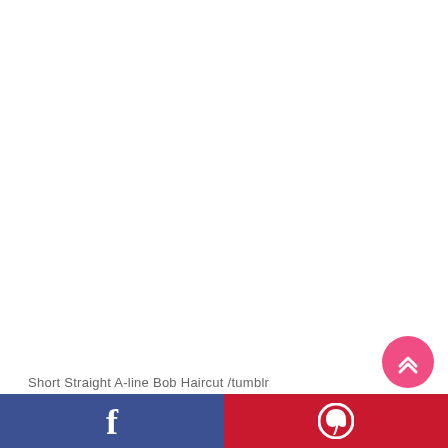[Figure (photo): White/blank area representing a photo of a short straight A-line bob haircut from tumblr]
Short Straight A-line Bob Haircut /tumblr
[Figure (other): Social media share footer bar with Facebook (blue) and Pinterest (red) buttons, and a pink scroll-to-top button]